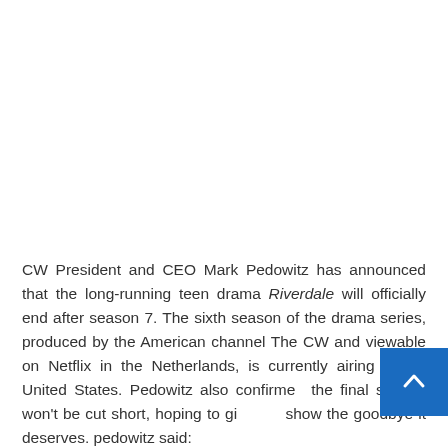CW President and CEO Mark Pedowitz has announced that the long-running teen drama Riverdale will officially end after season 7. The sixth season of the drama series, produced by the American channel The CW and viewable on Netflix in the Netherlands, is currently airing in the United States. Pedowitz also confirmed the final season won't be cut short, hoping to give the show the goodbye it deserves. pedowitz said: